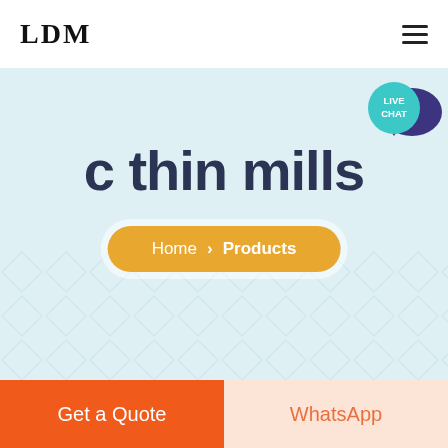LDM
[Figure (logo): Live Chat speech bubble icon with teal circle and dark purple chat bubble, labeled LIVE CHAT]
c thin mills
Home > Products
Get a Quote
WhatsApp